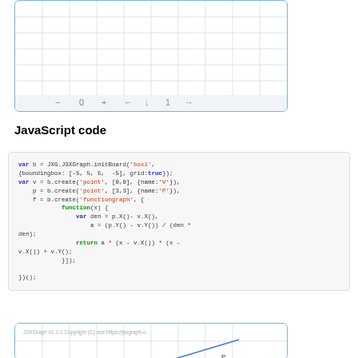[Figure (other): Top portion of a JSXGraph interactive board showing a grid with navigation controls (-, 0, +, arrows) at the bottom]
JavaScript code
var b = JXG.JSXGraph.initBoard('box1', {boundingbox: [-5, 5, 5, -5], grid:true});
var v = b.create('point', [0,0], {name:'V'}),
    p = b.create('point', [3,3], {name:'P'}),
    f = b.create('functiongraph', [
            function(x) {
                var den = p.X()- v.X(),
                    a = (p.Y() - v.Y()) / (den * den);
                return a * (x - v.X()) * (x - v.X()) + v.Y();
            }]);
})();
[Figure (other): Bottom portion of a JSXGraph board showing JSXGraph v1.2.1 Copyright (C) see https://jsxgraph... with a blue diagonal line and point P visible]